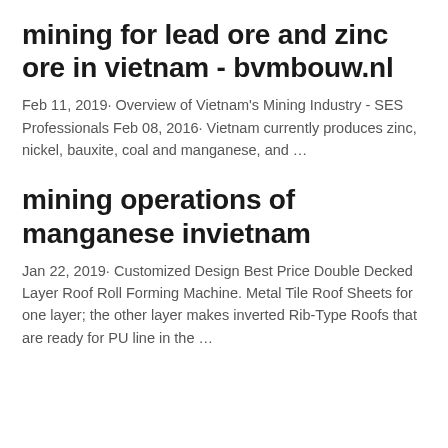mining for lead ore and zinc ore in vietnam - bvmbouw.nl
Feb 11, 2019· Overview of Vietnam's Mining Industry - SES Professionals Feb 08, 2016· Vietnam currently produces zinc, nickel, bauxite, coal and manganese, and …
mining operations of manganese invietnam
Jan 22, 2019· Customized Design Best Price Double Decked Layer Roof Roll Forming Machine. Metal Tile Roof Sheets for one layer; the other layer makes inverted Rib-Type Roofs that are ready for PU line in the …